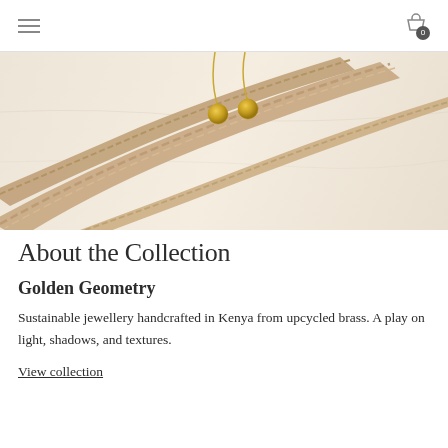Navigation header with hamburger menu and cart icon showing 0 items
[Figure (photo): Close-up photo of braided leather/rope jewelry strands and gold ball earrings on a white fabric background]
About the Collection
Golden Geometry
Sustainable jewellery handcrafted in Kenya from upcycled brass. A play on light, shadows, and textures.
View collection